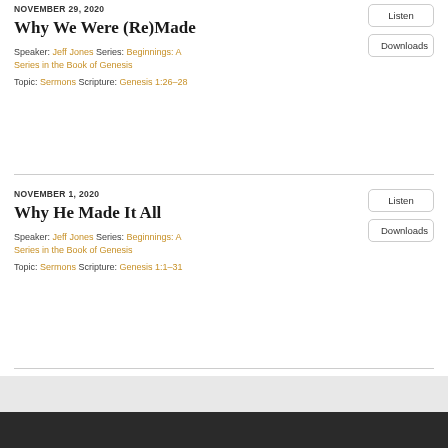NOVEMBER 29, 2020
Why We Were (Re)Made
Speaker: Jeff Jones Series: Beginnings: A Series in the Book of Genesis
Topic: Sermons Scripture: Genesis 1:26–28
NOVEMBER 1, 2020
Why He Made It All
Speaker: Jeff Jones Series: Beginnings: A Series in the Book of Genesis
Topic: Sermons Scripture: Genesis 1:1–31